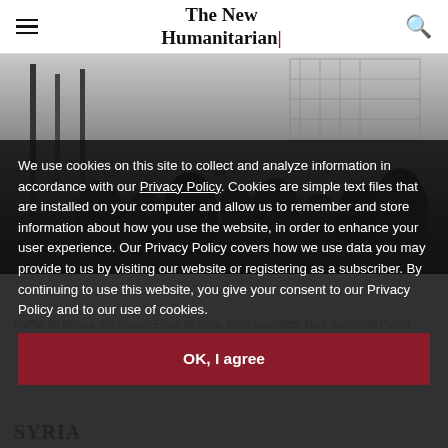The New Humanitarian
[Figure (photo): Black and white press conference photo showing journalists and officials, likely a UN briefing]
We use cookies on this site to collect and analyze information in accordance with our Privacy Policy. Cookies are simple text files that are installed on your computer and allow us to remember and store information about how you use the website, in order to enhance your user experience. Our Privacy Policy covers how we use data you may provide to us by visiting our website or registering as a subscriber. By continuing to use this website, you give your consent to our Privacy Policy and to our use of cookies.
Staffan de Mistura, UN Special Envoy for Syria, briefs journalists. Mark Garten/UN Photo)
OK, I agree